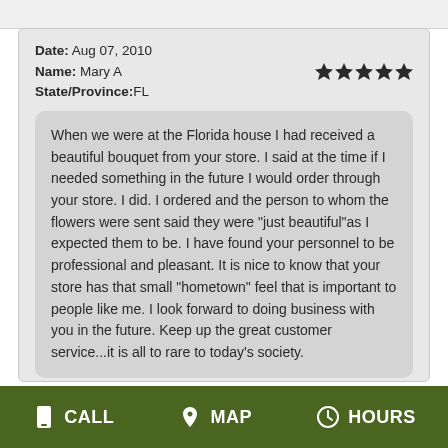Date: Aug 07, 2010
Name: Mary A
State/Province: FL
★★★★★
When we were at the Florida house I had received a beautiful bouquet from your store. I said at the time if I needed something in the future I would order through your store. I did. I ordered and the person to whom the flowers were sent said they were "just beautiful"as I expected them to be. I have found your personnel to be professional and pleasant. It is nice to know that your store has that small "hometown" feel that is important to people like me. I look forward to doing business with you in the future. Keep up the great customer service...it is all to rare to today's society.
CALL  MAP  HOURS